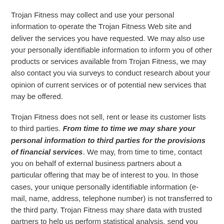Trojan Fitness may collect and use your personal information to operate the Trojan Fitness Web site and deliver the services you have requested. We may also use your personally identifiable information to inform you of other products or services available from Trojan Fitness, we may also contact you via surveys to conduct research about your opinion of current services or of potential new services that may be offered.
Trojan Fitness does not sell, rent or lease its customer lists to third parties. From time to time we may share your personal information to third parties for the provisions of financial services. We may, from time to time, contact you on behalf of external business partners about a particular offering that may be of interest to you. In those cases, your unique personally identifiable information (e-mail, name, address, telephone number) is not transferred to the third party. Trojan Fitness may share data with trusted partners to help us perform statistical analysis, send you email or postal mail, provide customer support, or arrange for deliveries. All such third parties are prohibited from using your personal information except to provide these services to